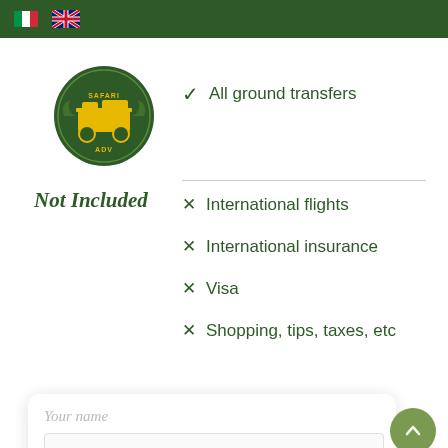🇮🇹 🇬🇧 (language selector flags)
[Figure (logo): Safari ADV circular logo badge with green background and yellow jeep/4x4 vehicle graphic]
✓ All ground transfers
Not Included
✗ International flights
✗ International insurance
✗ Visa
✗ Shopping, tips, taxes, etc
Your name (form placeholder)